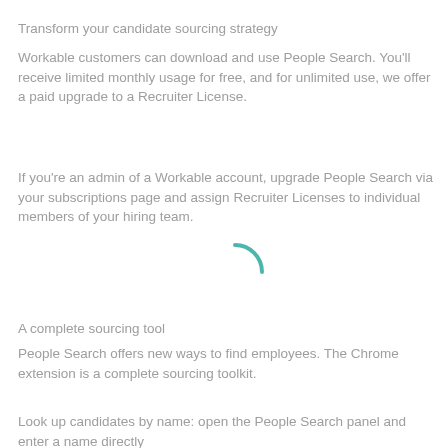Transform your candidate sourcing strategy
Workable customers can download and use People Search. You'll receive limited monthly usage for free, and for unlimited use, we offer a paid upgrade to a Recruiter License.
If you're an admin of a Workable account, upgrade People Search via your subscriptions page and assign Recruiter Licenses to individual members of your hiring team.
A complete sourcing tool
People Search offers new ways to find employees. The Chrome extension is a complete sourcing toolkit.
Look up candidates by name: open the People Search panel and enter a name directly
Right-click search: highlight any name online and right clic